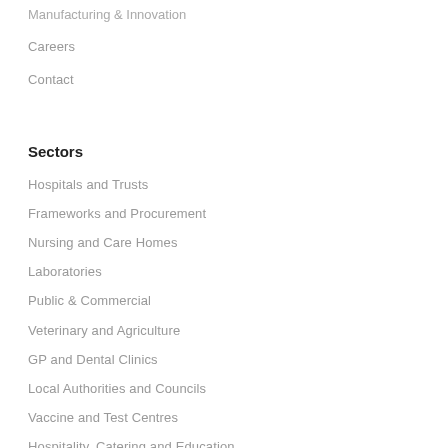Manufacturing & Innovation
Careers
Contact
Sectors
Hospitals and Trusts
Frameworks and Procurement
Nursing and Care Homes
Laboratories
Public & Commercial
Veterinary and Agriculture
GP and Dental Clinics
Local Authorities and Councils
Vaccine and Test Centres
Hospitality, Catering and Education